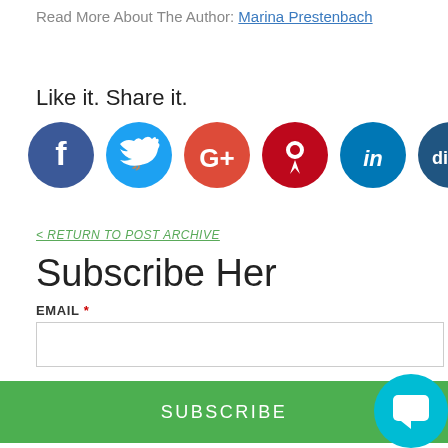Read More About The Author: Marina Prestenbach
Like it. Share it.
[Figure (infographic): Row of 7 social media share icons: Facebook (blue), Twitter (cyan), Google+ (orange-red), Pinterest (dark red), LinkedIn (blue), Digg (dark blue), Email (gray)]
< RETURN TO POST ARCHIVE
Subscribe Her
EMAIL *
[Figure (screenshot): Chat widget popup with green avatar icon and X close button, showing text: Hey there 🙂 Interested in getting small business tips delivered right to your inbox?]
SUBSCRIBE
[Figure (illustration): Teal circular chat bubble button in bottom right corner]